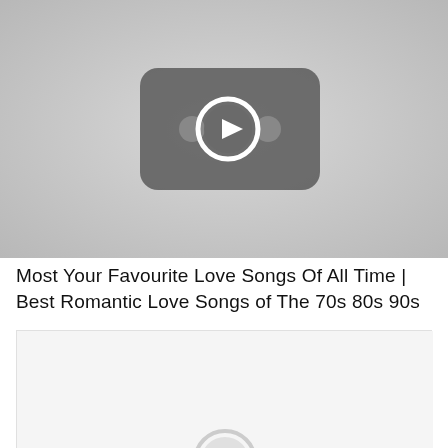[Figure (screenshot): YouTube-style video thumbnail placeholder showing a rounded rectangle play button icon with two small circular dots on either side, all in dark gray on a light gray background.]
Most Your Favourite Love Songs Of All Time | Best Romantic Love Songs of The 70s 80s 90s
[Figure (screenshot): A second video thumbnail placeholder, light gray background with partial play button icon visible at the bottom center.]